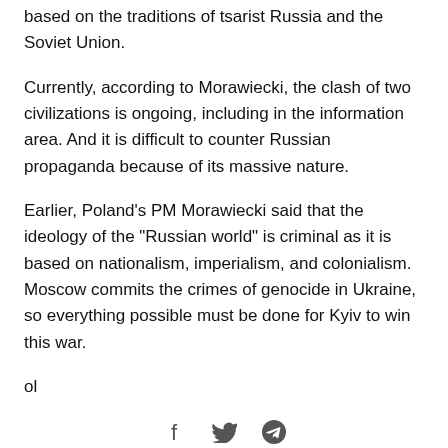based on the traditions of tsarist Russia and the Soviet Union.
Currently, according to Morawiecki, the clash of two civilizations is ongoing, including in the information area. And it is difficult to counter Russian propaganda because of its massive nature.
Earlier, Poland's PM Morawiecki said that the ideology of the "Russian world" is criminal as it is based on nationalism, imperialism, and colonialism. Moscow commits the crimes of genocide in Ukraine, so everything possible must be done for Kyiv to win this war.
ol
[Figure (other): Social share icons: Facebook, Twitter, Telegram, followed by a horizontal divider line]